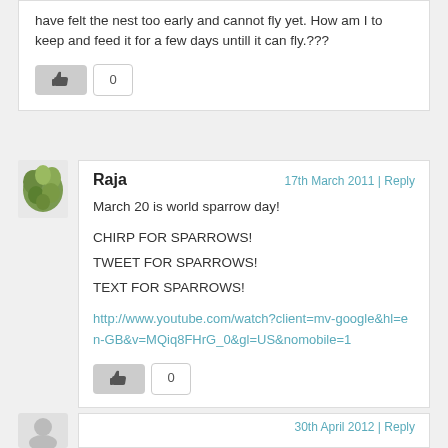have felt the nest too early and cannot fly yet. How am I to keep and feed it for a few days untill it can fly.???
0
[Figure (illustration): User avatar with green foliage illustration]
Raja
17th March 2011 | Reply
March 20 is world sparrow day!

CHIRP FOR SPARROWS!
TWEET FOR SPARROWS!
TEXT FOR SPARROWS!

http://www.youtube.com/watch?client=mv-google&hl=en-GB&v=MQiq8FHrG_0&gl=US&nomobile=1
0